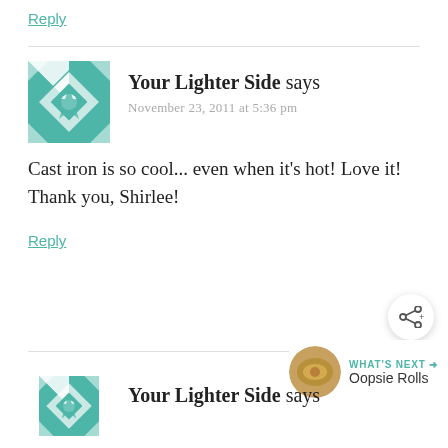Reply
Your Lighter Side says
November 23, 2011 at 5:36 pm
Cast iron is so cool... even when it's hot! Love it! Thank you, Shirlee!
Reply
Your Lighter Side says